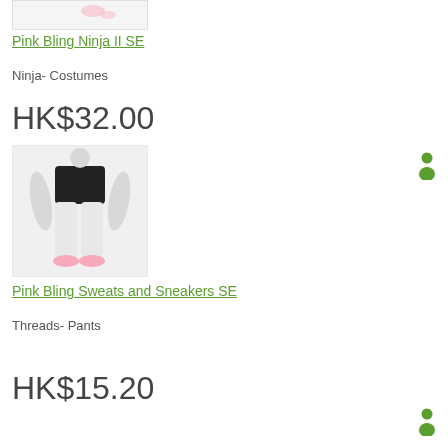[Figure (photo): Partial image of a Pink Bling Ninja costume avatar at top of page]
Pink Bling Ninja II SE
Ninja- Costumes
HK$32.00
[Figure (photo): 3D avatar wearing white sweatpants and pink sneakers (Pink Bling Sweats and Sneakers SE)]
Pink Bling Sweats and Sneakers SE
Threads- Pants
HK$15.20